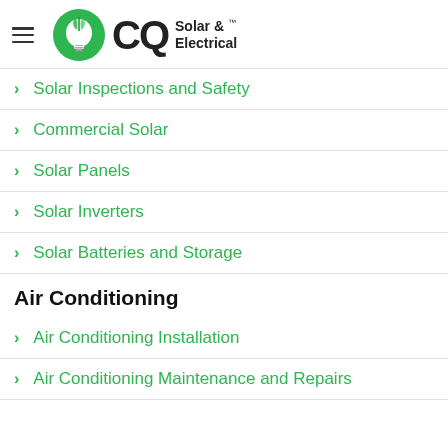CQ Solar & Electrical
Solar Inspections and Safety
Commercial Solar
Solar Panels
Solar Inverters
Solar Batteries and Storage
Air Conditioning
Air Conditioning Installation
Air Conditioning Maintenance and Repairs